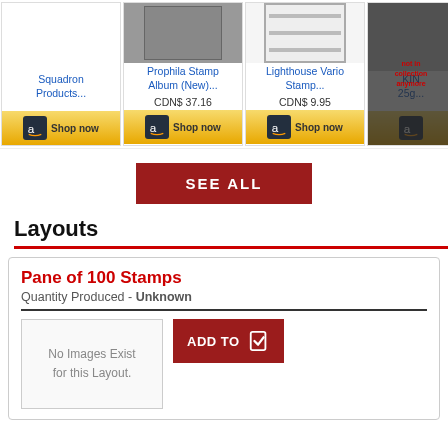[Figure (screenshot): Row of Amazon product cards: Squadron Products, Prophila Stamp Album (New), Lighthouse Vario Stamp, and partial KIN product. Each card shows a product image, title, price (where shown), and a Shop now button with Amazon logo. Prices: Prophila CDN$ 37.16, Lighthouse CDN$ 9.95.]
SEE ALL
Layouts
Pane of 100 Stamps
Quantity Produced - Unknown
No Images Exist for this Layout.
ADD TO